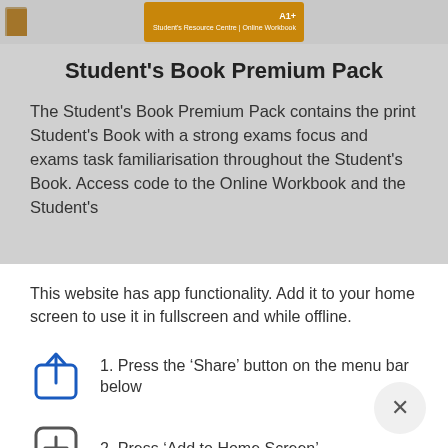[Figure (illustration): Orange book cover thumbnail for Student's Book Premium Pack]
Student's Book Premium Pack
The Student's Book Premium Pack contains the print Student's Book with a strong exams focus and exams task familiarisation throughout the Student's Book. Access code to the Online Workbook and the Student's
This website has app functionality. Add it to your home screen to use it in fullscreen and while offline.
1. Press the ‘Share’ button on the menu bar below
2. Press ‘Add to Home Screen’